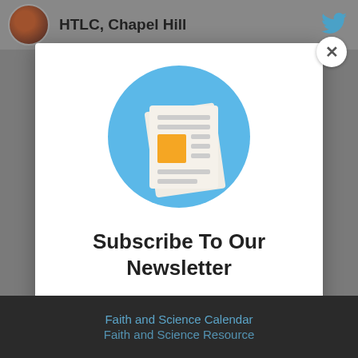HTLC, Chapel Hill
[Figure (illustration): Newsletter subscription modal with blue circle containing newspaper/document icon (white newspaper pages with orange square accent), on a white modal popup with close button]
Subscribe To Our Newsletter
Join our mailing list to receive the latest news and updates from our team!
Faith and Science Calendar
Faith and Science Resource